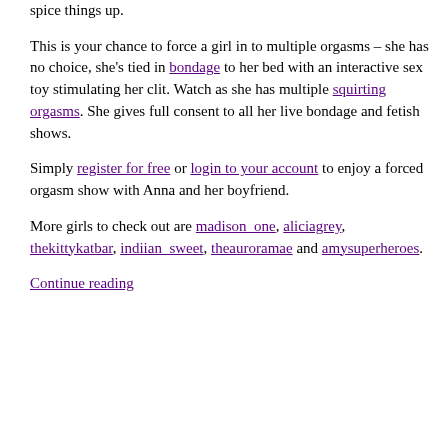part he might join her for a couple session from time to time to spice things up.
This is your chance to force a girl in to multiple orgasms – she has no choice, she's tied in bondage to her bed with an interactive sex toy stimulating her clit. Watch as she has multiple squirting orgasms. She gives full consent to all her live bondage and fetish shows.
Simply register for free or login to your account to enjoy a forced orgasm show with Anna and her boyfriend.
More girls to check out are madison_one, aliciagrey, thekittykatbar, indiian_sweet, theauroramae and amysuperheroes.
Continue reading